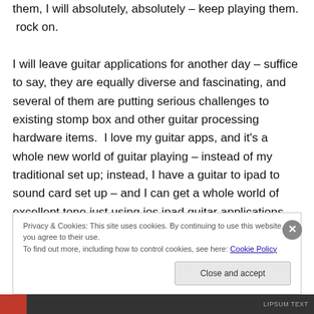them, I will absolutely, absolutely – keep playing them.  rock on.

I will leave guitar applications for another day – suffice to say, they are equally diverse and fascinating, and several of them are putting serious challenges to existing stomp box and other guitar processing hardware items.  I love my guitar apps, and it's a whole new world of guitar playing – instead of my traditional set up; instead, I have a guitar to ipad to sound card set up – and I can get a whole world of excellent tone just using ios ipad guitar applications...
Privacy & Cookies: This site uses cookies. By continuing to use this website, you agree to their use.
To find out more, including how to control cookies, see here: Cookie Policy
Close and accept